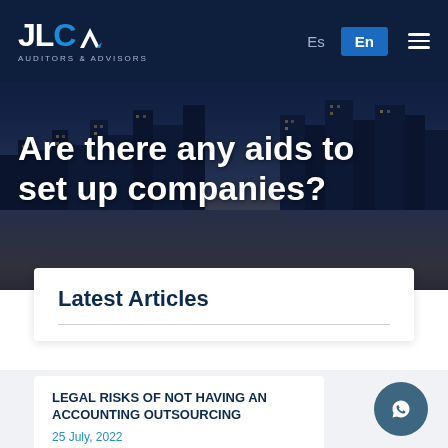JLC Auditors & Advisors — Es | En | Menu
Are there any aids to set up companies?
Latest Articles
LEGAL RISKS OF NOT HAVING AN ACCOUNTING OUTSOURCING
25 July, 2022